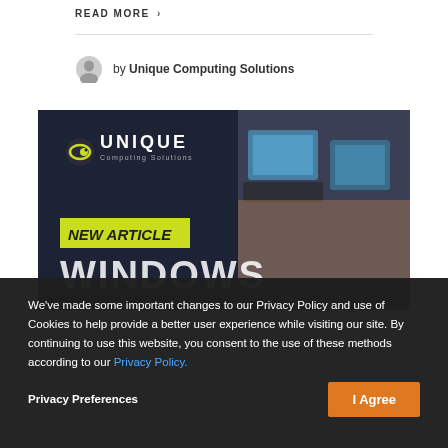READ MORE >
by Unique Computing Solutions
[Figure (screenshot): Unique Computing Solutions promotional banner showing 'NEW ARTICLE' label and 'WINDOWS' text with laptop images on dark blue background]
We've made some important changes to our Privacy Policy and use of Cookies to help provide a better user experience while visiting our site. By continuing to use this website, you consent to the use of these methods according to our Privacy Policy.
Privacy Preferences
I Agree